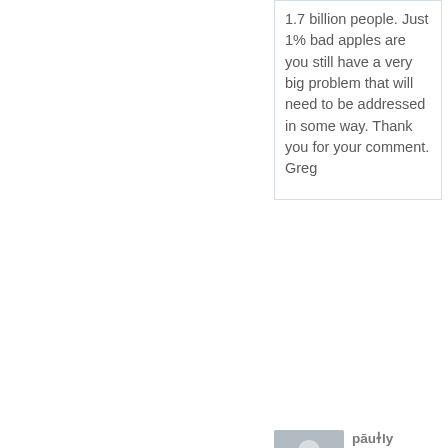1.7 billion people. Just 1% bad apples are you still have a very big problem that will need to be addressed in some way. Thank you for your comment. Greg
[Figure (illustration): User avatar silhouette placeholder image, grey background with person icon]
paul
Each
01/17/2015 •
group of people Muslims, Jews, Christians, etc., etc. (the good people in each group) must get together and create a covenant